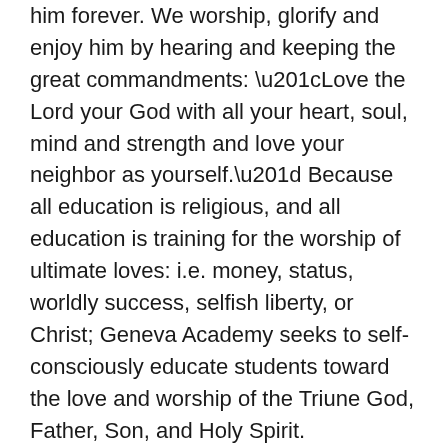him forever.  We worship, glorify and enjoy him by hearing and keeping the great commandments: “Love the Lord your God with all your heart, soul, mind and strength and love your neighbor as yourself.”  Because all education is religious, and all education is training for the worship of ultimate loves: i.e. money, status, worldly success, selfish liberty, or Christ; Geneva Academy seeks to self-consciously educate students toward the love and worship of the Triune God, Father, Son, and Holy Spirit.
As John Milton wrote “The end then of Learning is to repair the ruines of our first Parents by regaining to know God aright, and out of that knowledge to love him, to imitate him, to be like him, as we may the neerest by possessing